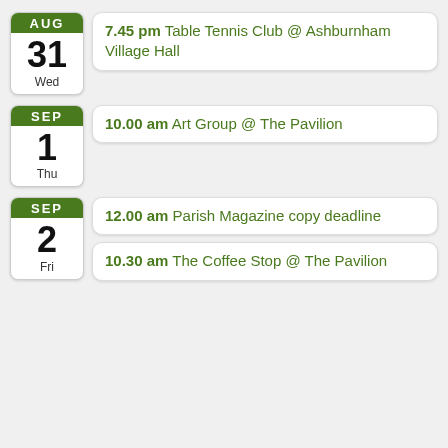AUG 31 Wed — 7.45 pm Table Tennis Club @ Ashburnham Village Hall
SEP 1 Thu — 10.00 am Art Group @ The Pavilion
SEP 2 Fri — 12.00 am Parish Magazine copy deadline
SEP 2 Fri — 10.30 am The Coffee Stop @ The Pavilion